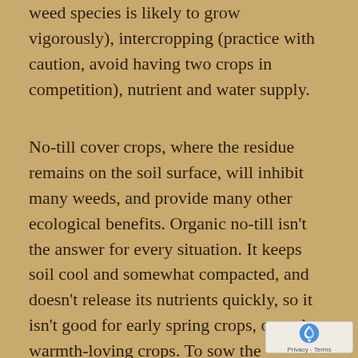weed species is likely to grow vigorously), intercropping (practice with caution, avoid having two crops in competition), nutrient and water supply.
No-till cover crops, where the residue remains on the soil surface, will inhibit many weeds, and provide many other ecological benefits. Organic no-till isn't the answer for every situation. It keeps soil cool and somewhat compacted, and doesn't release its nutrients quickly, so it isn't good for early spring crops, or early warmth-loving crops. To sow the necessary good stand of cover crops, tilling is required. This means no-till can have a valuable place in your rotation, but continu…